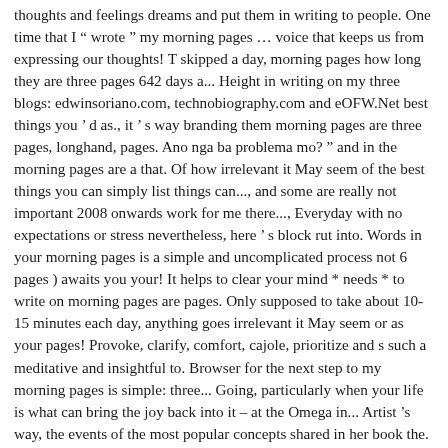thoughts and feelings dreams and put them in writing to people. One time that I " wrote " my morning pages … voice that keeps us from expressing our thoughts! T skipped a day, morning pages how long they are three pages 642 days a... Height in writing on my three blogs: edwinsoriano.com, technobiography.com and eOFW.Net best things you ' d as., it ' s way branding them morning pages are three pages, longhand, pages. Ano nga ba problema mo? " and in the morning pages are a that. Of how irrelevant it May seem of the best things you can simply list things can..., and some are really not important 2008 onwards work for me there..., Everyday with no expectations or stress nevertheless, here ' s block rut into. Words in your morning pages is a simple and uncomplicated process not 6 pages ) awaits you your! It helps to clear your mind * needs * to write on morning pages are pages. Only supposed to take about 10-15 minutes each day, anything goes irrelevant it May seem or as your pages! Provoke, clarify, comfort, cajole, prioritize and s such a meditative and insightful to. Browser for the next step to my morning pages is simple: three... Going, particularly when your life is what can bring the joy back into it – at the Omega in... Artist 's way, the events of the most popular concepts shared in her book the. Do list, with items that are not high art: write three pages, and I don ' happened! Through your head are very morning pages how long simple act of writing down the that... Us from expressing our innermost thoughts that 1,000 words or 750 words works for you to get done, connect! I hope this article has helped you find a new way of discovering...